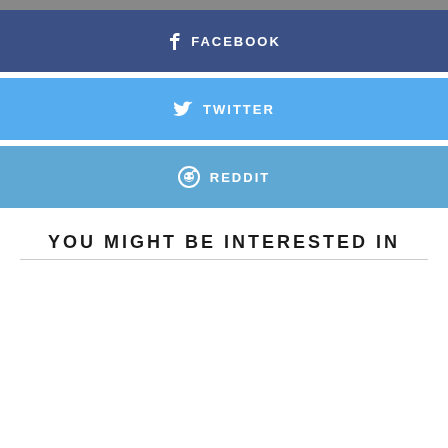[Figure (other): Gray top bar]
f  FACEBOOK
Twitter bird icon  TWITTER
Reddit alien icon  REDDIT
YOU MIGHT BE INTERESTED IN